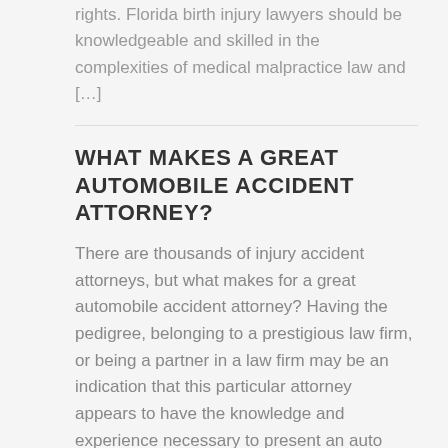rights. Florida birth injury lawyers should be knowledgeable and skilled in the complexities of medical malpractice law and […]
WHAT MAKES A GREAT AUTOMOBILE ACCIDENT ATTORNEY?
There are thousands of injury accident attorneys, but what makes for a great automobile accident attorney? Having the pedigree, belonging to a prestigious law firm, or being a partner in a law firm may be an indication that this particular attorney appears to have the knowledge and experience necessary to present an auto accident case […]